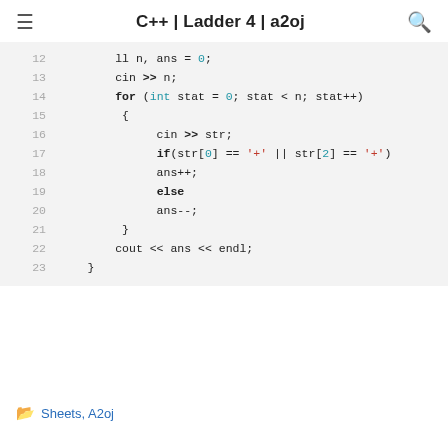C++ | Ladder 4 | a2oj
[Figure (screenshot): C++ code block showing lines 12-23 of a program. Lines show variable declarations, a for loop, cin input, if-else conditionals checking str[0] and str[2] for '+', incrementing/decrementing ans, and cout output.]
Sheets, A2oj